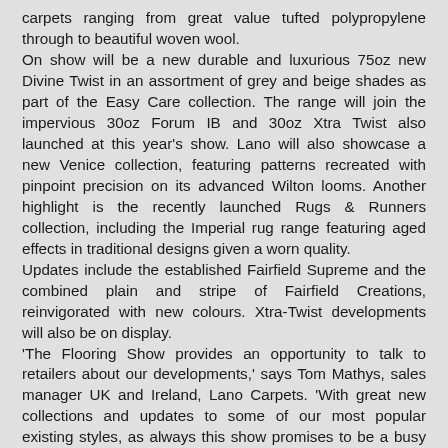carpets ranging from great value tufted polypropylene through to beautiful woven wool. On show will be a new durable and luxurious 75oz new Divine Twist in an assortment of grey and beige shades as part of the Easy Care collection. The range will join the impervious 30oz Forum IB and 30oz Xtra Twist also launched at this year's show. Lano will also showcase a new Venice collection, featuring patterns recreated with pinpoint precision on its advanced Wilton looms. Another highlight is the recently launched Rugs & Runners collection, including the Imperial rug range featuring aged effects in traditional designs given a worn quality. Updates include the established Fairfield Supreme and the combined plain and stripe of Fairfield Creations, reinvigorated with new colours. Xtra-Twist developments will also be on display. 'The Flooring Show provides an opportunity to talk to retailers about our developments,' says Tom Mathys, sales manager UK and Ireland, Lano Carpets. 'With great new collections and updates to some of our most popular existing styles, as always this show promises to be a busy one.' www.lano.com